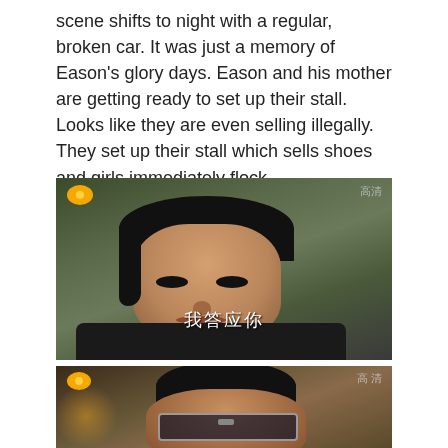scene shifts to night with a regular, broken car. It was just a memory of Eason’s glory days. Eason and his mother are getting ready to set up their stall. Looks like they are even selling illegally. They set up their stall which sells shoes and girls immediately flock.
[Figure (screenshot): TV drama screenshot showing a young Asian man with dark hair wearing a black jacket, looking slightly to the side. Chinese subtitle text '我答应你' visible at the bottom center. A yellow logo appears top-left and HD marker top-right.]
[Figure (screenshot): TV drama screenshot showing a young Asian man with dark hair wearing sunglasses, partially visible. Logo top-left, HD marker top-right with Chinese characters '高清'.]